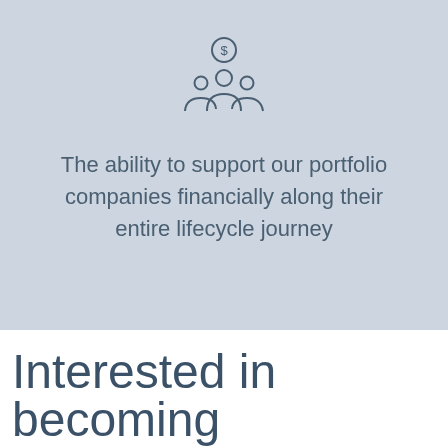[Figure (illustration): Icon of three people/group with a dollar sign coin above them, representing financial support for portfolio companies]
The ability to support our portfolio companies financially along their entire lifecycle journey
Interested in becoming